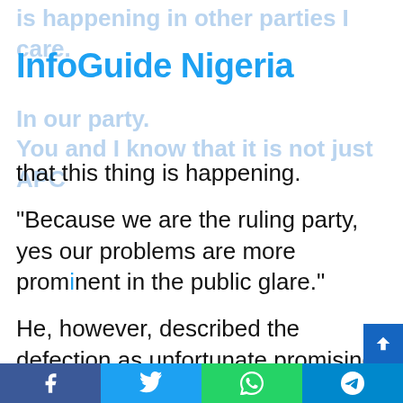InfoGuide Nigeria
is happening in other parties I care. In our party. You and I know that it is not just APC that this thing is happening.
“Because we are the ruling party, yes our problems are more prominent in the public glare.”
He, however, described the defection as unfortunate promising that the party leadership will address the cause of it.
“No responsible leader would not worry about losing one member not to